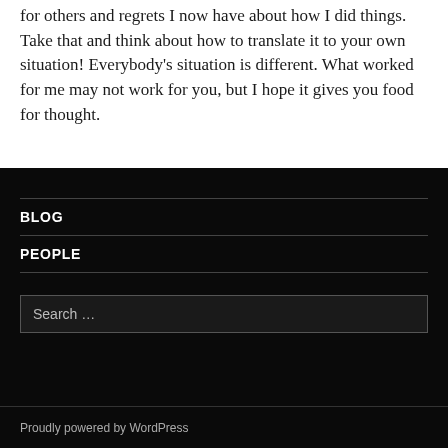for others and regrets I now have about how I did things. Take that and think about how to translate it to your own situation! Everybody's situation is different. What worked for me may not work for you, but I hope it gives you food for thought.
BLOG
PEOPLE
Search …
Proudly powered by WordPress